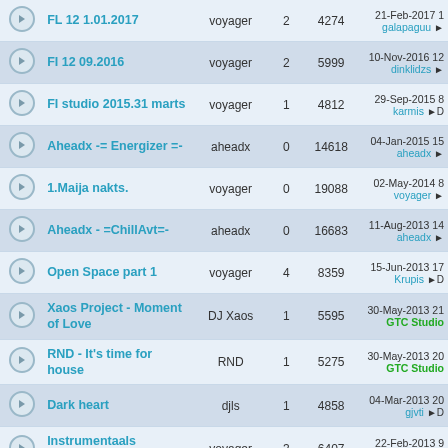|  | Title | Author | Replies | Views | Last Post |
| --- | --- | --- | --- | --- | --- |
|  | FL 12 1.01.2017 | voyager | 2 | 4274 | 21-Feb-2017 1 galapaguu → |
|  | FI 12 09.2016 | voyager | 2 | 5999 | 10-Nov-2016 12 dinklidzs → |
|  | FI studio 2015.31 marts | voyager | 1 | 4812 | 29-Sep-2015 8 karmis →D |
|  | Aheadx -= Energizer =- | aheadx | 0 | 14618 | 04-Jan-2015 15 aheadx → |
|  | 1.Maija nakts. | voyager | 0 | 19088 | 02-May-2014 8 voyager → |
|  | Aheadx - =ChillAvt=- | aheadx | 0 | 16683 | 11-Aug-2013 14 aheadx → |
|  | Open Space part 1 | voyager | 4 | 8359 | 15-Jun-2013 17 Krupis →D |
|  | Xaos Project - Moment of Love | DJ Xaos | 1 | 5595 | 30-May-2013 21 GTC Studio |
|  | RND - It's time for house | RND | 1 | 5275 | 30-May-2013 20 GTC Studio |
|  | Dark heart | djls | 1 | 4858 | 04-Mar-2013 20 gjvti →D |
|  | Instrumentaals skanndarbs | voyager | 3 | 6407 | 22-Feb-2013 9 gjvti →D |
|  | Xaos Project - Fucking Reality | DJ Xaos | 1 | 4965 | 09-Feb-2013 19 gjvti →D |
|  | Xaos Project | DJ Xaos | 1 | 5101 | 27-Jan-2013 14 |